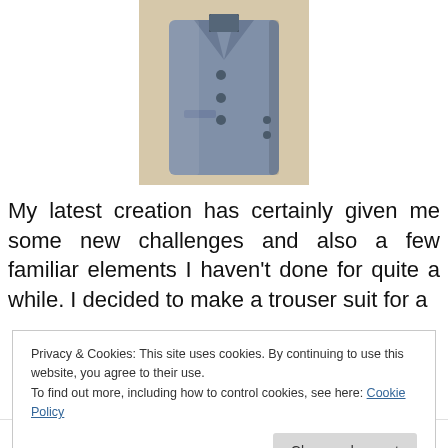[Figure (photo): Photo of a grey/blue women's blazer jacket displayed on a mannequin against a beige background]
My latest creation has certainly given me some new challenges and also a few familiar elements I haven't done for quite a while. I decided to make a trouser suit for a
Privacy & Cookies: This site uses cookies. By continuing to use this website, you agree to their use.
To find out more, including how to control cookies, see here: Cookie Policy
Close and accept